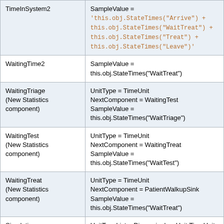| Component | Properties |
| --- | --- |
| TimeInSystem2 | SampleValue =
'this.obj.StateTimes("Arrive") +
this.obj.StateTimes("WaitTreat") +
this.obj.StateTimes("Treat") +
this.obj.StateTimes("Leave")' |
| WaitingTime2 | SampleValue =
this.obj.StateTimes("WaitTreat") |
| WaitingTriage
(New Statistics component) | UnitType = TimeUnit
NextComponent = WaitingTest
SampleValue =
this.obj.StateTimes("WaitTriage") |
| WaitingTest
(New Statistics component) | UnitType = TimeUnit
NextComponent = WaitingTreat
SampleValue =
this.obj.StateTimes("WaitTest") |
| WaitingTreat
(New Statistics component) | UnitType = TimeUnit
NextComponent = PatientWalkupSink
SampleValue =
this.obj.StateTimes("WaitTreat") |
| Simulation | UnitTypeList = DimensionlessUnit TimeUnit
TimeUnit TimeUnit TimeUnit TimeUnit |